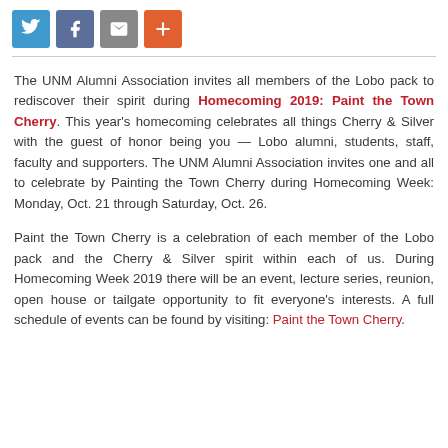[Figure (other): Social media sharing buttons row: Twitter (blue), Facebook (dark blue-grey), Email (grey), Plus/More (orange-red)]
The UNM Alumni Association invites all members of the Lobo pack to rediscover their spirit during Homecoming 2019: Paint the Town Cherry. This year's homecoming celebrates all things Cherry & Silver with the guest of honor being you — Lobo alumni, students, staff, faculty and supporters. The UNM Alumni Association invites one and all to celebrate by Painting the Town Cherry during Homecoming Week: Monday, Oct. 21 through Saturday, Oct. 26.
Paint the Town Cherry is a celebration of each member of the Lobo pack and the Cherry & Silver spirit within each of us. During Homecoming Week 2019 there will be an event, lecture series, reunion, open house or tailgate opportunity to fit everyone's interests. A full schedule of events can be found by visiting: Paint the Town Cherry.